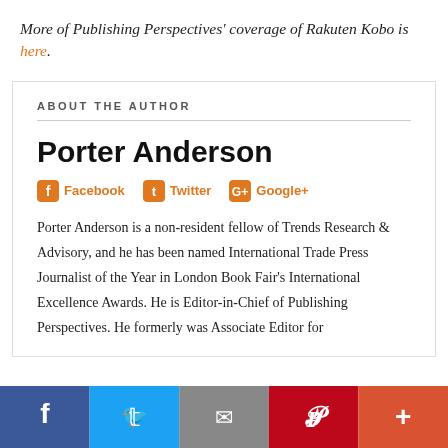More of Publishing Perspectives' coverage of Rakuten Kobo is here.
ABOUT THE AUTHOR
Porter Anderson
Facebook   Twitter   Google+
Porter Anderson is a non-resident fellow of Trends Research & Advisory, and he has been named International Trade Press Journalist of the Year in London Book Fair's International Excellence Awards. He is Editor-in-Chief of Publishing Perspectives. He formerly was Associate Editor for